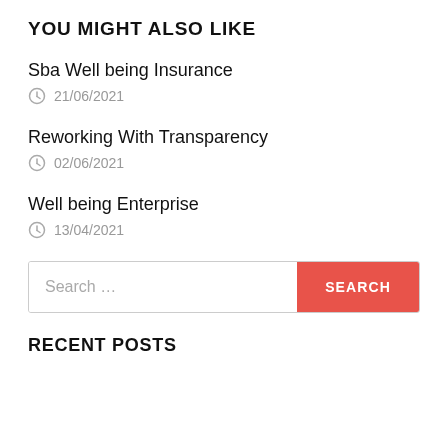YOU MIGHT ALSO LIKE
Sba Well being Insurance
21/06/2021
Reworking With Transparency
02/06/2021
Well being Enterprise
13/04/2021
Search …
RECENT POSTS